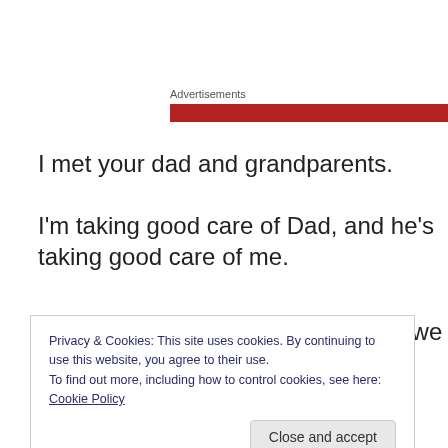Advertisements
[Figure (other): Red advertisement banner bar]
I met your dad and grandparents.
I'm taking good care of Dad, and he's taking good care of me.
Then Grandpa Evert joined us and we raced.
Privacy & Cookies: This site uses cookies. By continuing to use this website, you agree to their use.
To find out more, including how to control cookies, see here: Cookie Policy
Close and accept